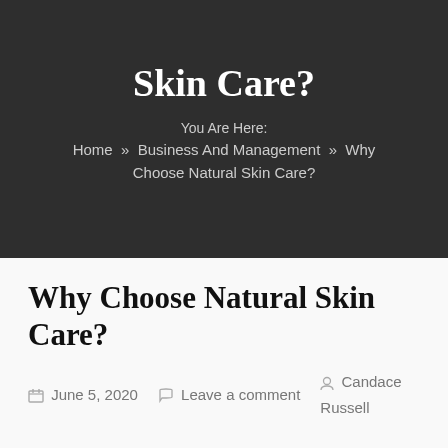Skin Care?
You Are Here:
Home » Business And Management » Why Choose Natural Skin Care?
Why Choose Natural Skin Care?
June 5, 2020   Leave a comment   Candace Russell